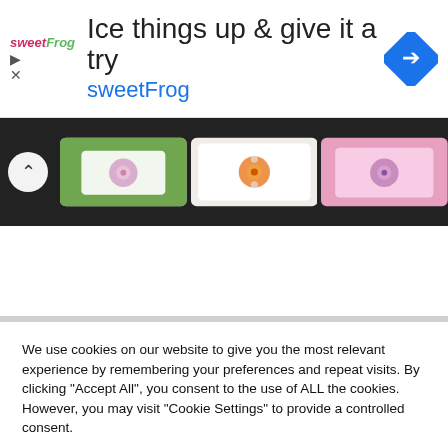[Figure (screenshot): Advertisement banner for sweetFrog frozen yogurt: logo, headline 'Ice things up & give it a try', subtext 'sweetFrog', and a blue diamond navigation icon on the right.]
[Figure (photo): A strip of three crocheted granny squares on a dark background, showing colorful floral crochet patterns in green/white/pink, white/orange, and pink/purple.]
We use cookies on our website to give you the most relevant experience by remembering your preferences and repeat visits. By clicking "Accept All", you consent to the use of ALL the cookies. However, you may visit "Cookie Settings" to provide a controlled consent.
Cookie Settings
Accept All